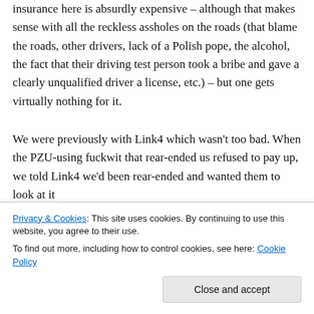insurance here is absurdly expensive – although that makes sense with all the reckless assholes on the roads (that blame the roads, other drivers, lack of a Polish pope, the alcohol, the fact that their driving test person took a bribe and gave a clearly unqualified driver a license, etc.) – but one gets virtually nothing for it.
We were previously with Link4 which wasn't too bad. When the PZU-using fuckwit that rear-ended us refused to pay up, we told Link4 we'd been rear-ended and wanted them to look at it
satisfactory enough. Funny thing though, the
Privacy & Cookies: This site uses cookies. By continuing to use this website, you agree to their use.
To find out more, including how to control cookies, see here: Cookie Policy